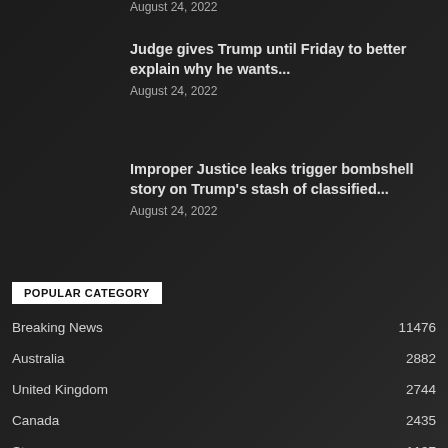August 24, 2022
Judge gives Trump until Friday to better explain why he wants...
August 24, 2022
Improper Justice leaks trigger bombshell story on Trump's stash of classified...
August 24, 2022
POPULAR CATEGORY
| Category | Count |
| --- | --- |
| Breaking News | 11476 |
| Australia | 2882 |
| United Kingdom | 2744 |
| Canada | 2435 |
| Story | 1197 |